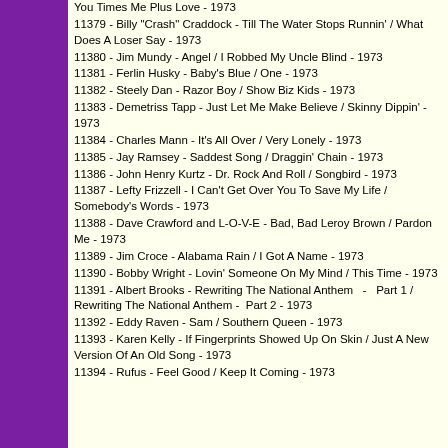You Times Me Plus Love - 1973
11379 - Billy "Crash" Craddock - Till The Water Stops Runnin' / What Does A Loser Say - 1973
11380 - Jim Mundy - Angel / I Robbed My Uncle Blind - 1973
11381 - Ferlin Husky - Baby's Blue / One - 1973
11382 - Steely Dan - Razor Boy / Show Biz Kids - 1973
11383 - Demetriss Tapp - Just Let Me Make Believe / Skinny Dippin' - 1973
11384 - Charles Mann - It's All Over / Very Lonely - 1973
11385 - Jay Ramsey - Saddest Song / Draggin' Chain - 1973
11386 - John Henry Kurtz - Dr. Rock And Roll / Songbird - 1973
11387 - Lefty Frizzell - I Can't Get Over You To Save My Life / Somebody's Words - 1973
11388 - Dave Crawford and L-O-V-E - Bad, Bad Leroy Brown / Pardon Me - 1973
11389 - Jim Croce - Alabama Rain / I Got A Name - 1973
11390 - Bobby Wright - Lovin' Someone On My Mind / This Time - 1973
11391 - Albert Brooks - Rewriting The National Anthem  -  Part 1 / Rewriting The National Anthem -  Part 2 - 1973
11392 - Eddy Raven - Sam / Southern Queen - 1973
11393 - Karen Kelly - If Fingerprints Showed Up On Skin / Just A New Version Of An Old Song - 1973
11394 - Rufus - Feel Good / Keep It Coming - 1973